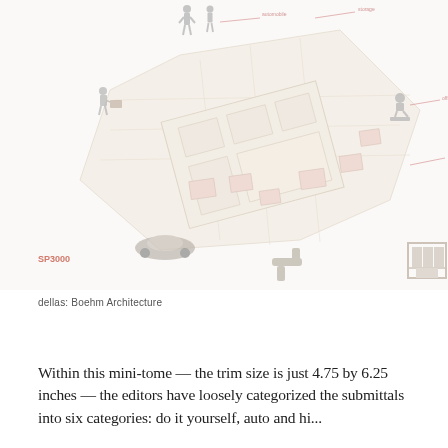[Figure (infographic): An isometric architectural/urban planning infographic diagram showing a building complex or campus layout with various annotated activity zones. Silhouetted human figures are placed around the diagram representing different activities (walking, sitting, working, riding forklift, etc.). The diagram is rendered in light beige/tan tones with red-pink annotations and labels. A small red logo or text label appears at the bottom left of the image.]
dellas: Boehm Architecture
Within this mini-tome — the trim size is just 4.75 by 6.25 inches — the editors have loosely categorized the submittals into six categories: do it yourself, auto and hi...